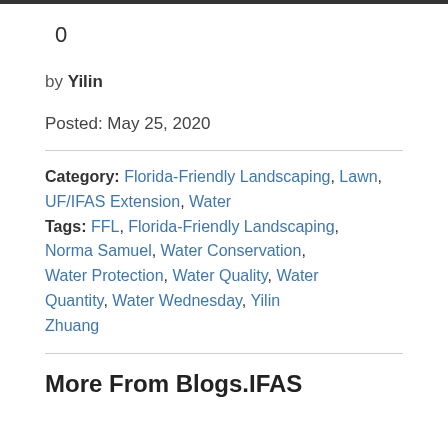0
by Yilin
Posted: May 25, 2020
Category: Florida-Friendly Landscaping, Lawn, UF/IFAS Extension, Water
Tags: FFL, Florida-Friendly Landscaping, Norma Samuel, Water Conservation, Water Protection, Water Quality, Water Quantity, Water Wednesday, Yilin Zhuang
More From Blogs.IFAS